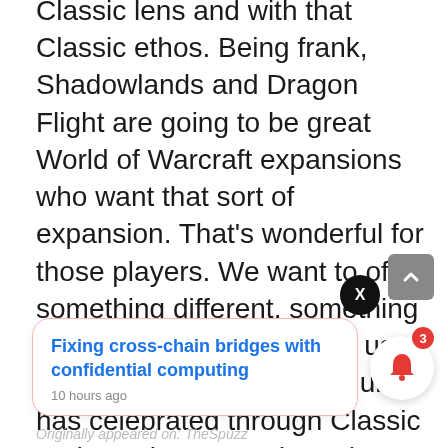Classic lens and with that Classic ethos. Being frank, Shadowlands and Dragon Flight are going to be great World of Warcraft expansions who want that sort of expansion. That's wonderful for those players. We want to offer something different, something that our community asked us to bring back, that our community has celebrated through Classic and Burning Crusade and hopefully into Wrath of the Lich King as well. Anything we do after that is going to be with that mindset of serving that community and emphasizing those things that make Classic special to people.
[Figure (infographic): Popup notification card with title 'Fixing cross-chain bridges with confidential computing', timestamp '10 hours ago', a circular X close button, a bell icon button with red badge showing '3', and a scroll-to-top arrow button.]
Originally appeared on: TheSpuzz